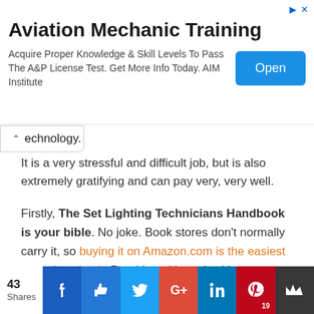[Figure (screenshot): Advertisement banner for Aviation Mechanic Training by AIM Institute with an Open button]
technology.
It is a very stressful and difficult job, but is also extremely gratifying and can pay very, very well.
Firstly, The Set Lighting Technicians Handbook is your bible. No joke. Book stores don't normally carry it, so buying it on Amazon.com is the easiest way of getting it. Read it and have it with you on set. It is an amazing aid for learning about gear, trouble shooting, general reference and a fantastic read when baby sitting a light in a lift all day.
[Figure (infographic): Social share bar with 43 Shares count and buttons: Facebook, Like, Twitter, Google+, LinkedIn, Pinterest (19), Crown]